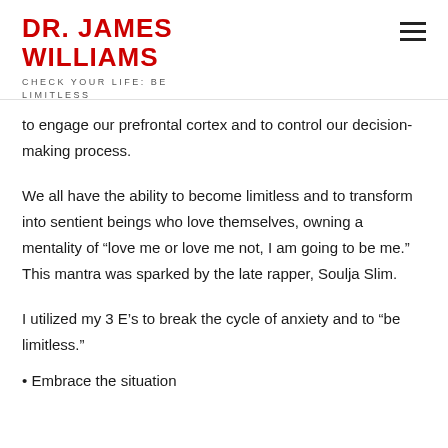DR. JAMES WILLIAMS
CHECK YOUR LIFE: BE LIMITLESS
to engage our prefrontal cortex and to control our decision-making process.
We all have the ability to become limitless and to transform into sentient beings who love themselves, owning a mentality of “love me or love me not, I am going to be me.” This mantra was sparked by the late rapper, Soulja Slim.
I utilized my 3 E’s to break the cycle of anxiety and to “be limitless.”
• Embrace the situation